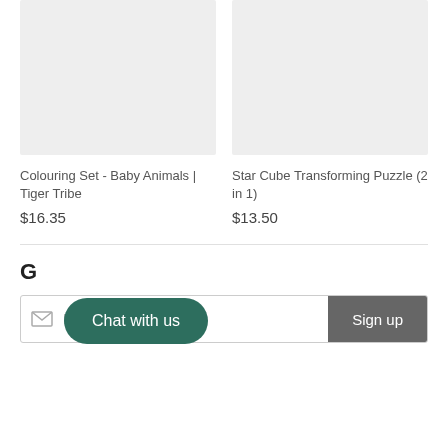[Figure (photo): Product image placeholder for Colouring Set - Baby Animals Tiger Tribe (light grey rectangle)]
Colouring Set - Baby Animals | Tiger Tribe
$16.35
[Figure (photo): Product image placeholder for Star Cube Transforming Puzzle (2 in 1) (light grey rectangle)]
Star Cube Transforming Puzzle (2 in 1)
$13.50
G
Chat with us
Email address
Sign up